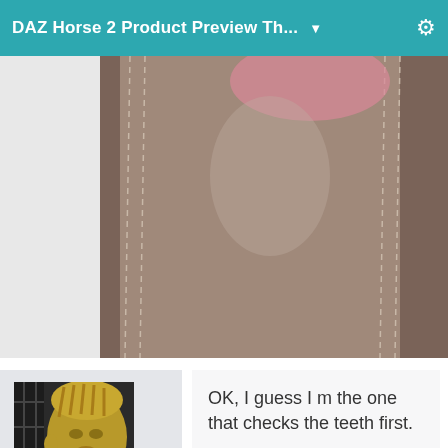DAZ Horse 2 Product Preview Th... ▼
[Figure (photo): Close-up render of a horse hoof with leather straps and stitching detail, brownish-grey tones with pink visible at top]
[Figure (photo): 3D rendered avatar portrait with gold/yellow metallic skin and hair, female figure]
MarcCCTx
Posts: 871
November 2012
OK, I guess I m the one that checks the teeth first.
Attachments
[Figure (photo): Dark 3D render showing what appears to be horse mouth/teeth area in black tones]